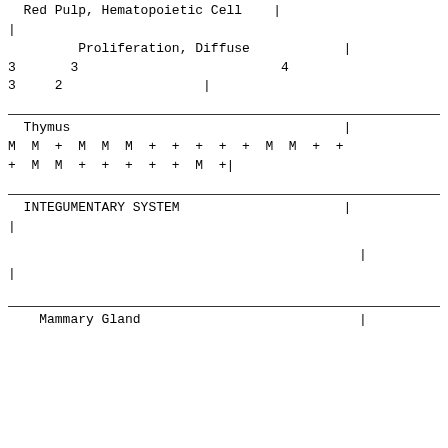Red Pulp, Hematopoietic Cell    |
|
Proliferation, Diffuse       |
3      3                    4
3    2              |
Thymus                           |
M  M  +  M  M  M  +  +  +  +  +  M  M  +  +
+  M  M  +  +  +  +  +  M  +|
INTEGUMENTARY SYSTEM             |
|
|
|
Mammary Gland                    |